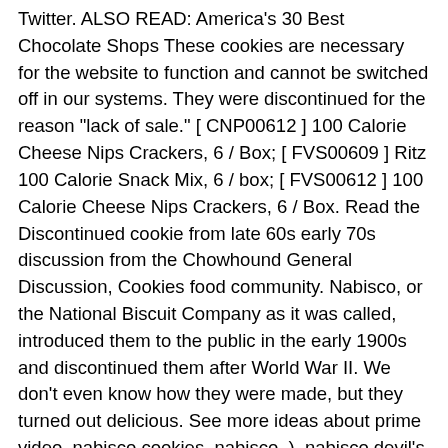Twitter. ALSO READ: America's 30 Best Chocolate Shops These cookies are necessary for the website to function and cannot be switched off in our systems. They were discontinued for the reason "lack of sale." [ CNP00612 ] 100 Calorie Cheese Nips Crackers, 6 / Box; [ FVS00609 ] Ritz 100 Calorie Snack Mix, 6 / box; [ FVS00612 ] 100 Calorie Cheese Nips Crackers, 6 / Box. Read the Discontinued cookie from late 60s early 70s discussion from the Chowhound General Discussion, Cookies food community. Nabisco, or the National Biscuit Company as it was called, introduced them to the public in the early 1900s and discontinued them after World War II. We don't even know how they were made, but they turned out delicious. See more ideas about prime video, nabisco cookies, nabisco. ). nabisco devil's food cakes. Due to strong customer loyalty, classic confections, such as the Fig Newton, have enjoyed success and longevity. These luxurious cookies are sure to delight at parties. In 1984, Nabisco